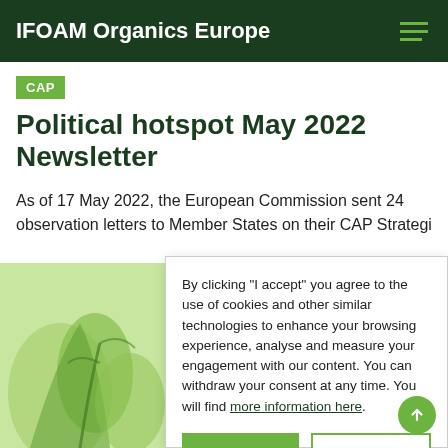IFOAM Organics Europe
CAP
Political hotspot May 2022 Newsletter
As of 17 May 2022, the European Commission sent 24 observation letters to Member States on their CAP Strategi
[Figure (illustration): Green abstract organic plant illustration]
By clicking "I accept" you agree to the use of cookies and other similar technologies to enhance your browsing experience, analyse and measure your engagement with our content. You can withdraw your consent at any time. You will find more information here.
I accept
I do not accept